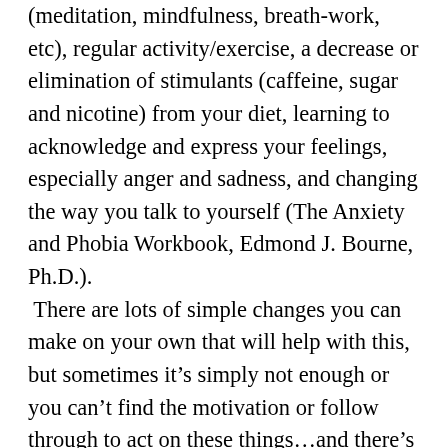(meditation, mindfulness, breath-work, etc), regular activity/exercise, a decrease or elimination of stimulants (caffeine, sugar and nicotine) from your diet, learning to acknowledge and express your feelings, especially anger and sadness, and changing the way you talk to yourself (The Anxiety and Phobia Workbook, Edmond J. Bourne, Ph.D.).  There are lots of simple changes you can make on your own that will help with this, but sometimes it's simply not enough or you can't find the motivation or follow through to act on these things...and there's no shame in that. At some point, we all have to decide when we can do something on our own and when we need help. If trying to manage your anxiety and panic is feeling too overwhelming or hopeless